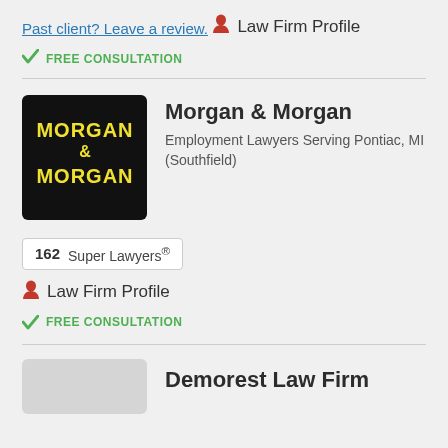Past client? Leave a review.
Law Firm Profile
FREE CONSULTATION
[Figure (logo): Morgan & Morgan law firm logo — black background with yellow bold text reading MORGAN & MORGAN]
Morgan & Morgan
Employment Lawyers Serving Pontiac, MI (Southfield)
162  Super Lawyers®
Law Firm Profile
FREE CONSULTATION
Demorest Law Firm